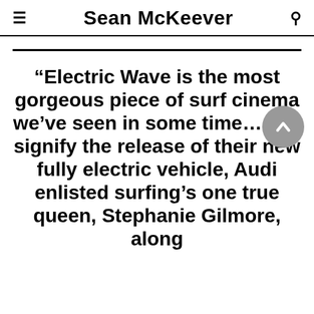Sean McKeever
“Electric Wave is the most gorgeous piece of surf cinema we’ve seen in some time…  To signify the release of their new fully electric vehicle, Audi enlisted surfing’s one true queen, Stephanie Gilmore, along